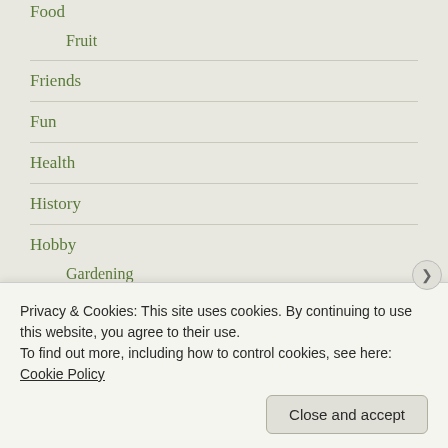Food
Fruit
Friends
Fun
Health
History
Hobby
Gardening
Knitting
Stamp collecting
House
Privacy & Cookies: This site uses cookies. By continuing to use this website, you agree to their use.
To find out more, including how to control cookies, see here: Cookie Policy
Close and accept